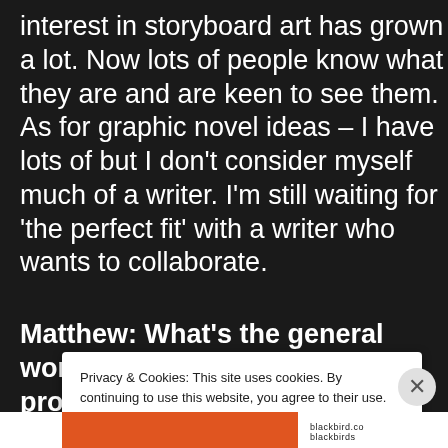interest in storyboard art has grown a lot. Now lots of people know what they are and are keen to see them. As for graphic novel ideas – I have lots of but I don't consider myself much of a writer. I'm still waiting for 'the perfect fit' with a writer who wants to collaborate.
Matthew: What's the general working relationship and process between a
Privacy & Cookies: This site uses cookies. By continuing to use this website, you agree to their use.
To find out more, including how to control cookies, see here: Cookie Policy
Close and accept